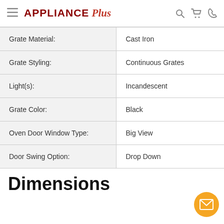APPLIANCE Plus — navigation bar with hamburger menu, search, cart, and phone icons
| Property | Value |
| --- | --- |
| Grate Material: | Cast Iron |
| Grate Styling: | Continuous Grates |
| Light(s): | Incandescent |
| Grate Color: | Black |
| Oven Door Window Type: | Big View |
| Door Swing Option: | Drop Down |
Dimensions